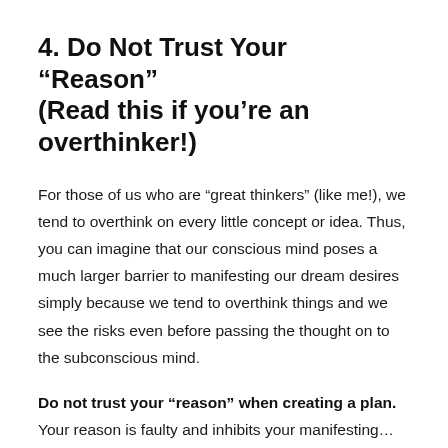4. Do Not Trust Your “Reason” (Read this if you’re an overthinker!)
For those of us who are “great thinkers” (like me!), we tend to overthink on every little concept or idea. Thus, you can imagine that our conscious mind poses a much larger barrier to manifesting our dream desires simply because we tend to overthink things and we see the risks even before passing the thought on to the subconscious mind.
Do not trust your “reason” when creating a plan.
Your reason is faulty and inhibits your manifesting...